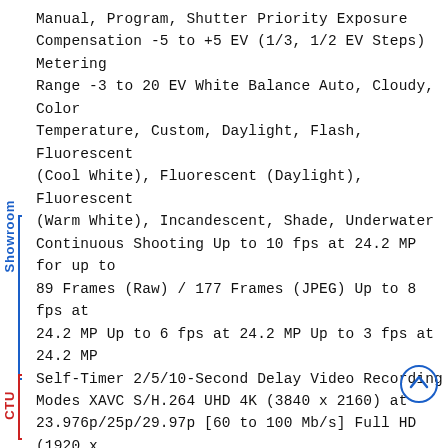Manual, Program, Shutter Priority Exposure Compensation -5 to +5 EV (1/3, 1/2 EV Steps) Metering Range -3 to 20 EV White Balance Auto, Cloudy, Color Temperature, Custom, Daylight, Flash, Fluorescent (Cool White), Fluorescent (Daylight), Fluorescent (Warm White), Incandescent, Shade, Underwater Continuous Shooting Up to 10 fps at 24.2 MP for up to 89 Frames (Raw) / 177 Frames (JPEG) Up to 8 fps at 24.2 MP Up to 6 fps at 24.2 MP Up to 3 fps at 24.2 MP Self-Timer 2/5/10-Second Delay Video Recording Modes XAVC S/H.264 UHD 4K (3840 x 2160) at 23.976p/25p/29.97p [60 to 100 Mb/s] Full HD (1920 x 1080) at 100p/119.88p [60 to 100 Mb/s] Full HD (1920 x 1080) at 23.976p/25p/29.97p/50p/59.94p [50 Mb/s] Full HD (1920 x 1080) at 50p/59.94p [25 Mb/s] Full HD (1920 x 1080) at 25p/29.97p [16 Mb/s] AVCHD/H.264 Full HD (1920 x 1080) at 50i/59.94i [24 Mb/s] Full HD (1920 x 1080) at 50i/59.94i [17 Mb/s] External Recording Modes 4:2:2 8-Bit UHD 4K (3840 x